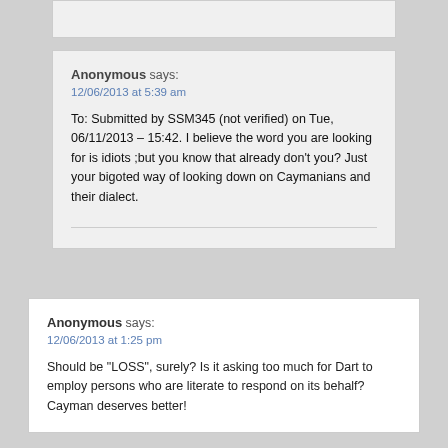Anonymous says: 12/06/2013 at 5:39 am
To: Submitted by SSM345 (not verified) on Tue, 06/11/2013 – 15:42. I believe the word you are looking for is idiots ;but you know that already don't you? Just your bigoted way of looking down on Caymanians and their dialect.
Anonymous says: 12/06/2013 at 1:25 pm
Should be "LOSS", surely? Is it asking too much for Dart to employ persons who are literate to respond on its behalf? Cayman deserves better!